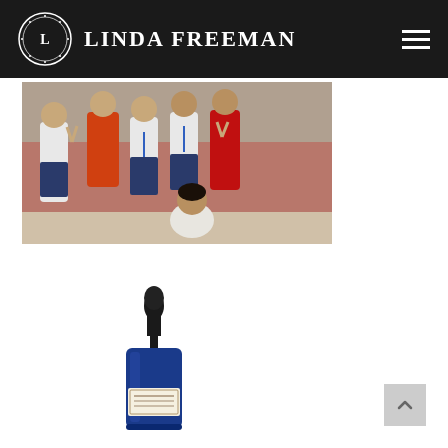LINDA FREEMAN
[Figure (photo): Group of school children in uniforms, some making peace signs, standing outdoors against a brick wall. One child crouches in front.]
[Figure (photo): A blue glass dropper bottle with a black dropper top and a label, containing what appears to be a cosmetic serum or oil product.]